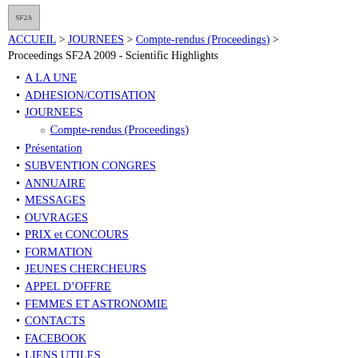SF2A [logo] ACCUEIL > JOURNEES > Compte-rendus (Proceedings) > Proceedings SF2A 2009 - Scientific Highlights
A LA UNE
ADHESION/COTISATION
JOURNEES
Compte-rendus (Proceedings)
Présentation
SUBVENTION CONGRES
ANNUAIRE
MESSAGES
OUVRAGES
PRIX et CONCOURS
FORMATION
JEUNES CHERCHEURS
APPEL D'OFFRE
FEMMES ET ASTRONOMIE
CONTACTS
FACEBOOK
LIENS UTILES
Proceedings SF2A 2009 -